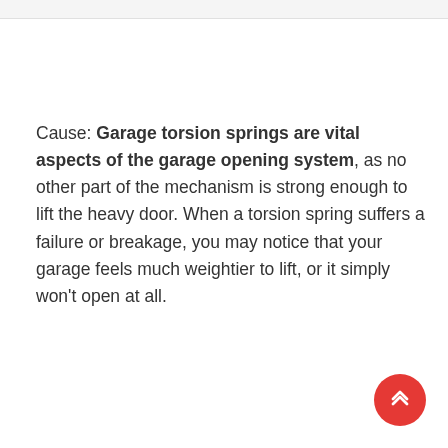Cause: Garage torsion springs are vital aspects of the garage opening system, as no other part of the mechanism is strong enough to lift the heavy door. When a torsion spring suffers a failure or breakage, you may notice that your garage feels much weightier to lift, or it simply won't open at all.